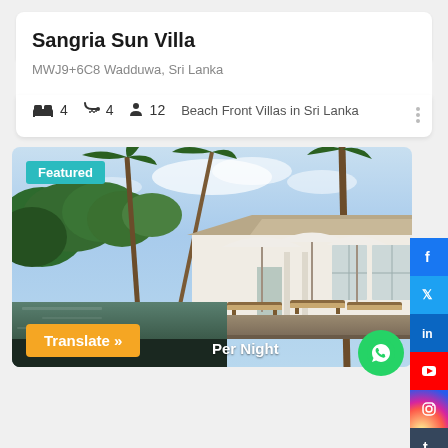Sangria Sun Villa
MWJ9+6C8 Wadduwa, Sri Lanka
🛏 4  🚿 4  👤 12  Beach Front Villas in Sri Lanka
[Figure (photo): Outdoor pool area of Sangria Sun Villa in Sri Lanka with sun loungers, white umbrellas, palm trees, and a white villa building in the background. Featured badge overlay. Social media sidebar on the right. Translate button and Per Night text at the bottom.]